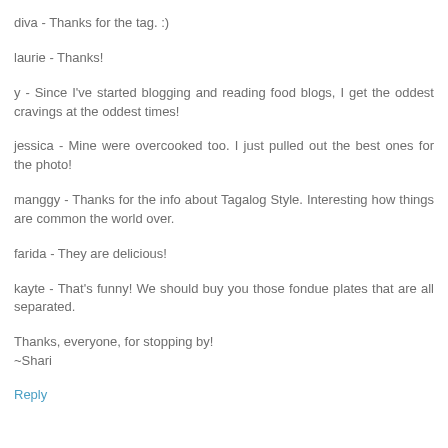diva - Thanks for the tag. :)
laurie - Thanks!
y - Since I've started blogging and reading food blogs, I get the oddest cravings at the oddest times!
jessica - Mine were overcooked too. I just pulled out the best ones for the photo!
manggy - Thanks for the info about Tagalog Style. Interesting how things are common the world over.
farida - They are delicious!
kayte - That's funny! We should buy you those fondue plates that are all separated.
Thanks, everyone, for stopping by!
~Shari
Reply